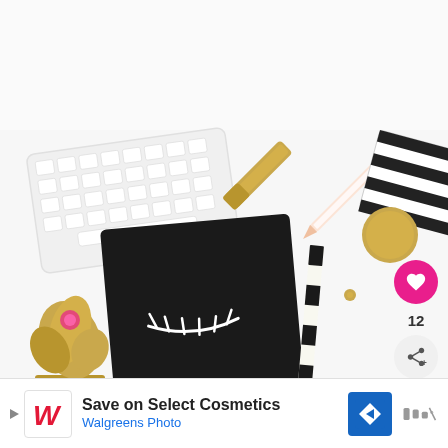[Figure (photo): Flat lay photo of office/desk accessories on white background: white Apple keyboard top-left, gold stapler, striped and polka-dot notebooks, gold round object, gold metallic surface top-right, black notebook with white eyelash design center-left, pencil with black and white striped pattern, gold glittery plant/flower bottom-left. Heart (like) button with count 12 and share button on right side.]
12
Save on Select Cosmetics
Walgreens Photo